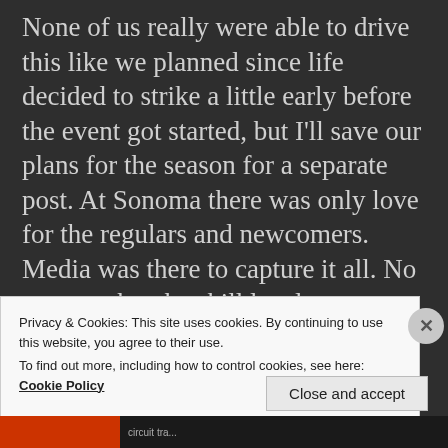None of us really were able to drive this like we planned since life decided to strike a little early before the event got started, but I'll save our plans for the season for a separate post. At Sonoma there was only love for the regulars and newcomers. Media was there to capture it all. No matter what the skill level was someone was out there snapping stills or hitting the record button for any car coming close to the deadly K-walls.
Privacy & Cookies: This site uses cookies. By continuing to use this website, you agree to their use.
To find out more, including how to control cookies, see here: Cookie Policy
Close and accept